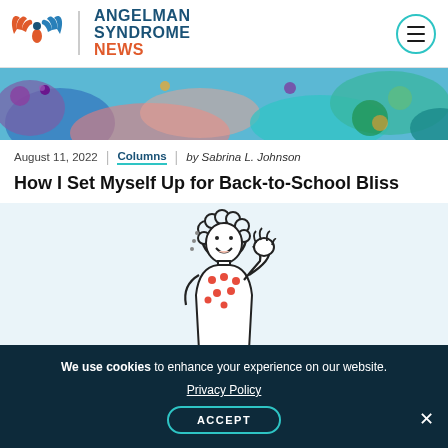[Figure (logo): Angelman Syndrome News logo with wings icon and teal/red text]
[Figure (illustration): Colorful abstract banner with flowers and organic shapes in teal, blue, pink, green]
August 11, 2022  |  Columns  |  by Sabrina L. Johnson
How I Set Myself Up for Back-to-School Bliss
[Figure (illustration): Line drawing of a smiling curly-haired person with hand to chin, wearing a red polka-dot top, on light blue background]
We use cookies to enhance your experience on our website. Privacy Policy ACCEPT